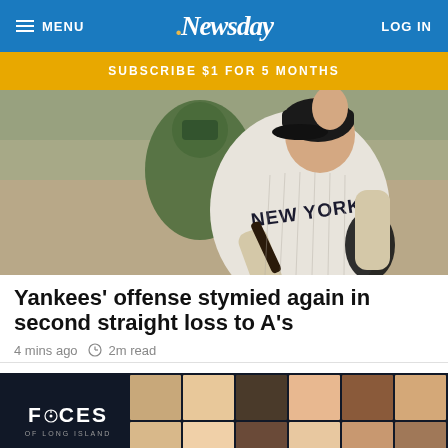MENU | Newsday | LOG IN
SUBSCRIBE $1 FOR 5 MONTHS
[Figure (photo): New York Yankees batter in gray pinstripe uniform holding a bat, with an Oakland Athletics catcher in green uniform visible behind, during a baseball game]
Yankees' offense stymied again in second straight loss to A's
4 mins ago  2m read
[Figure (photo): Advertisement banner for 'Faces of Long Island' showing a grid of diverse portrait photos on a dark background]